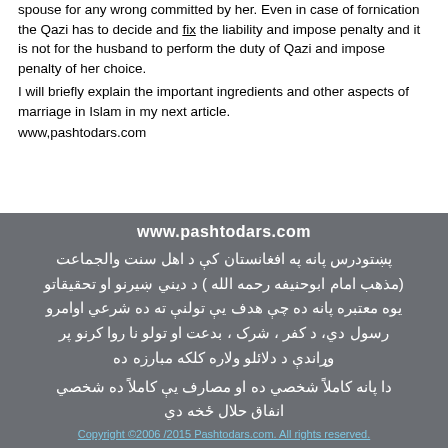spouse for any wrong committed by her. Even in case of fornication the Qazi has to decide and fix the liability and impose penalty and it is not for the husband to perform the duty of Qazi and impose penalty of her choice.
I will briefly explain the important ingredients and other aspects of marriage in Islam in my next article.
www.pashtodars.com
www.pashtodars.com
پښتودرس پانه  په  افغانستان کې د اهل سنت والجماعت (مذهب امام ابوحنیفه رحمه الله ) د دیني ښیرنو او تحقیقاتو یوه معتبره پانه ده چې هدف یې تولنې ته د شرعي اوامرو رسول دي، د کفر ، شرک ، بدعت او تولو نا روا کرنو پر وړاندې د دلائلو ولاره کلکه مبارزه ده
دا پانه کاملاً شخصي ده او مصارف یې کاملاً د شخصي انفاق حلال ځخه دي
Copyright ©2006 /2015 Pashtodars.com. All rights reserved.